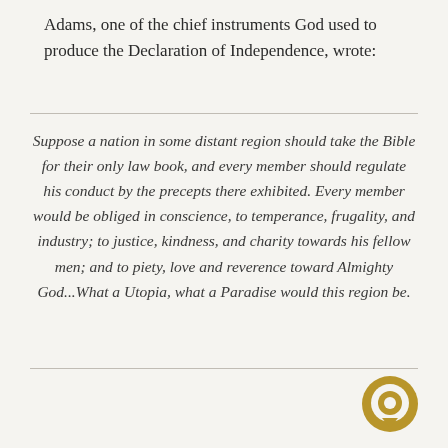Adams, one of the chief instruments God used to produce the Declaration of Independence, wrote:
Suppose a nation in some distant region should take the Bible for their only law book, and every member should regulate his conduct by the precepts there exhibited. Every member would be obliged in conscience, to temperance, frugality, and industry; to justice, kindness, and charity towards his fellow men; and to piety, love and reverence toward Almighty God...What a Utopia, what a Paradise would this region be.
[Figure (logo): Gold circular chat/speech bubble icon in bottom right area]